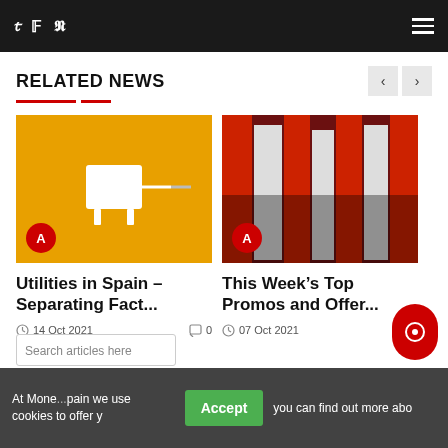Navigation bar with social icons (Twitter, Facebook, Pinterest) and hamburger menu
RELATED NEWS
[Figure (photo): White USB power adapter on orange/yellow background]
Utilities in Spain – Separating Fact...
14 Oct 2021  0
[Figure (photo): Colorful dried chili peppers and garlic hanging in a market]
This Week's Top Promos and Offer...
07 Oct 2021  0
Search articles here
At Mone... pain we use cookies to offer y you can find out more abo
Accept